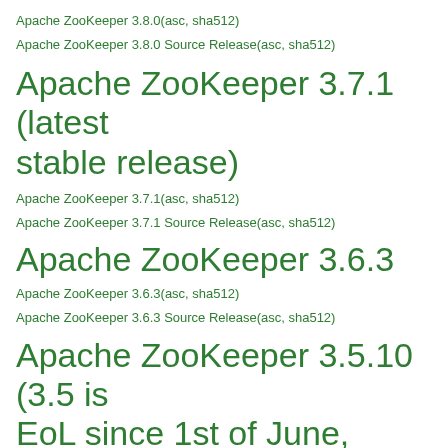Apache ZooKeeper 3.8.0(asc, sha512)
Apache ZooKeeper 3.8.0 Source Release(asc, sha512)
Apache ZooKeeper 3.7.1 (latest stable release)
Apache ZooKeeper 3.7.1(asc, sha512)
Apache ZooKeeper 3.7.1 Source Release(asc, sha512)
Apache ZooKeeper 3.6.3
Apache ZooKeeper 3.6.3(asc, sha512)
Apache ZooKeeper 3.6.3 Source Release(asc, sha512)
Apache ZooKeeper 3.5.10 (3.5 is EoL since 1st of June, 2022)
Apache ZooKeeper 3.5.10(asc, sha512)